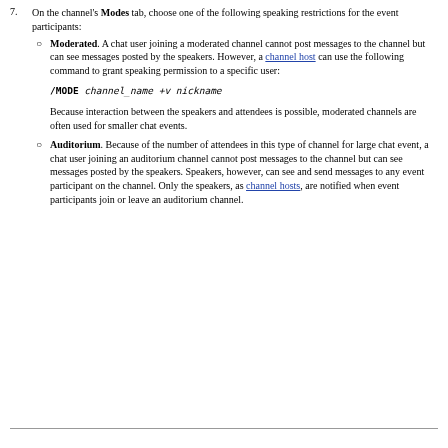7. On the channel's Modes tab, choose one of the following speaking restrictions for the event participants:
Moderated. A chat user joining a moderated channel cannot post messages to the channel but can see messages posted by the speakers. However, a channel host can use the following command to grant speaking permission to a specific user:
Because interaction between the speakers and attendees is possible, moderated channels are often used for smaller chat events.
Auditorium. Because of the number of attendees in this type of channel for large chat event, a chat user joining an auditorium channel cannot post messages to the channel but can see messages posted by the speakers. Speakers, however, can see and send messages to any event participant on the channel. Only the speakers, as channel hosts, are notified when event participants join or leave an auditorium channel.